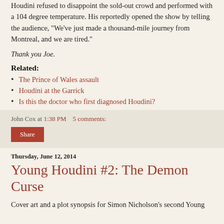Houdini refused to disappoint the sold-out crowd and performed with a 104 degree temperature. His reportedly opened the show by telling the audience, "We've just made a thousand-mile journey from Montreal, and we are tired."
Thank you Joe.
Related:
The Prince of Wales assault
Houdini at the Garrick
Is this the doctor who first diagnosed Houdini?
John Cox at 1:38 PM   5 comments:
Share
Thursday, June 12, 2014
Young Houdini #2: The Demon Curse
Cover art and a plot synopsis for Simon Nicholson's second Young